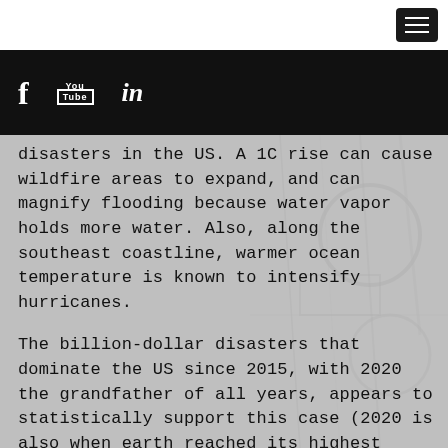[Figure (other): Navigation menu button (hamburger icon) in dark square, top right corner]
[Figure (other): Black social media bar with Facebook (f), YouTube, and LinkedIn (in) icons]
disasters in the US. A 1C rise can cause wildfire areas to expand, and can magnify flooding because water vapor holds more water. Also, along the southeast coastline, warmer ocean temperature is known to intensify hurricanes.
The billion-dollar disasters that dominate the US since 2015, with 2020 the grandfather of all years, appears to statistically support this case (2020 is also when earth reached its highest temperature since the year 1(99-)